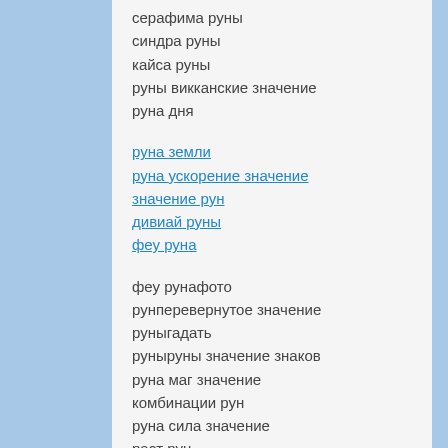серафима руны
синдра руны
кайса руны
руны викканские значение
руна дня
руна земли
руна ускорение значение
значение рун
дивиай руны
феу руна
феу рунафото
рунперевернутое значение
руныгадать
руныруны значение знаков
руна маг значение
комбинации рун
руна сила значение
раст рун